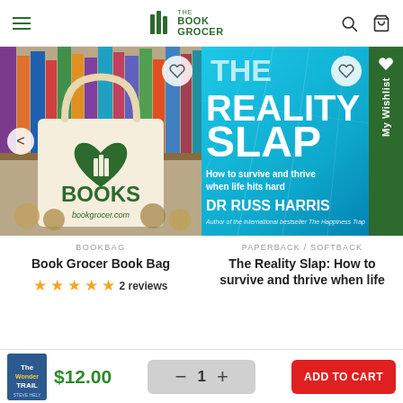The Book Grocer
[Figure (photo): Book Grocer tote bag with 'I Love Books' text and bookgrocer.com printed on it, surrounded by books and bookmarks]
BOOKBAG
Book Grocer Book Bag
★★★★★ 2 reviews
[Figure (photo): The Reality Slap book cover by Dr Russ Harris - How to survive and thrive when life hits hard]
PAPERBACK / SOFTBACK
The Reality Slap: How to survive and thrive when life
$12.00
− 1 +
ADD TO CART